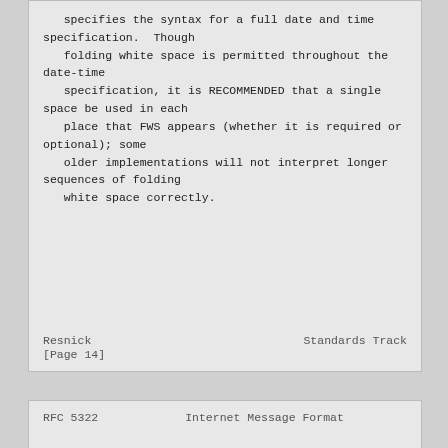specifies the syntax for a full date and time specification.  Though
   folding white space is permitted throughout the date-time
   specification, it is RECOMMENDED that a single space be used in each
   place that FWS appears (whether it is required or optional); some
   older implementations will not interpret longer sequences of folding
   white space correctly.
Resnick                     Standards Track
[Page 14]
RFC 5322                Internet Message Format